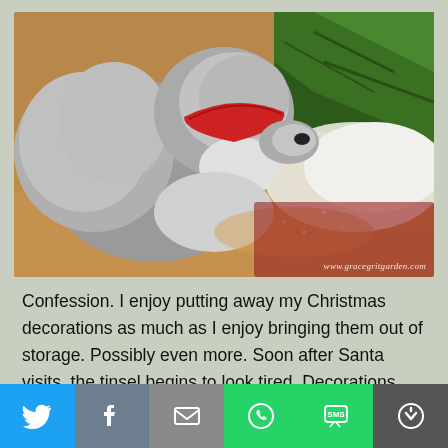[Figure (photo): A fluffy grey and white dog wearing a red collar, sniffing under a Christmas tree near a white fluffy tree skirt on a wooden floor. Watermark reads www.gracegritgarden.com]
Confession. I enjoy putting away my Christmas decorations as much as I enjoy bringing them out of storage. Possibly even more. Soon after Santa visits, the tinsel begins to look tired. Decorations turn to clutter. This downward
[Figure (infographic): Social sharing bar with six buttons: Twitter (blue), Facebook (grey-blue), Email/mail (grey), WhatsApp (green), SMS (green), More (dark grey)]